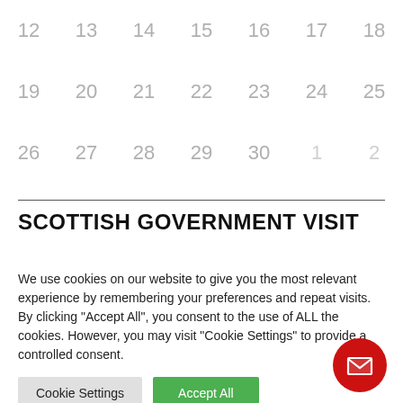12 13 14 15 16 17 18
19 20 21 22 23 24 25
26 27 28 29 30 1 2
SCOTTISH GOVERNMENT VISIT
We use cookies on our website to give you the most relevant experience by remembering your preferences and repeat visits. By clicking "Accept All", you consent to the use of ALL the cookies. However, you may visit "Cookie Settings" to provide a controlled consent.
Cookie Settings | Accept All